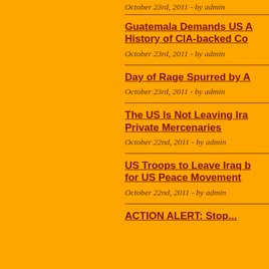October 23rd, 2011 - by admin
Guatemala Demands US A... History of CIA-backed Co...
October 23rd, 2011 - by admin
Day of Rage Spurred by A...
October 23rd, 2011 - by admin
The US Is Not Leaving Ira... Private Mercenaries
October 22nd, 2011 - by admin
US Troops to Leave Iraq b... for US Peace Movement
October 22nd, 2011 - by admin
ACTION ALERT: Stop...